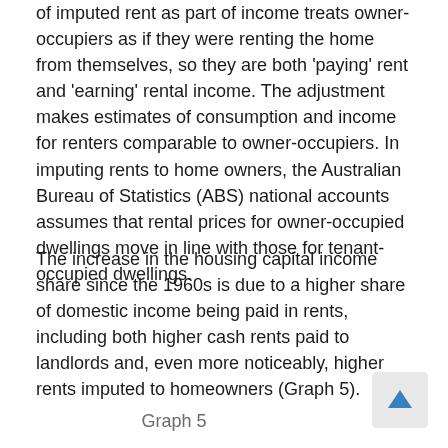of imputed rent as part of income treats owner-occupiers as if they were renting the home from themselves, so they are both 'paying' rent and 'earning' rental income. The adjustment makes estimates of consumption and income for renters comparable to owner-occupiers. In imputing rents to home owners, the Australian Bureau of Statistics (ABS) national accounts assumes that rental prices for owner-occupied dwellings move in line with those for tenant-occupied dwellings.
The increase in the housing capital income share since the 1960s is due to a higher share of domestic income being paid in rents, including both higher cash rents paid to landlords and, even more noticeably, higher rents imputed to homeowners (Graph 5).
Graph 5